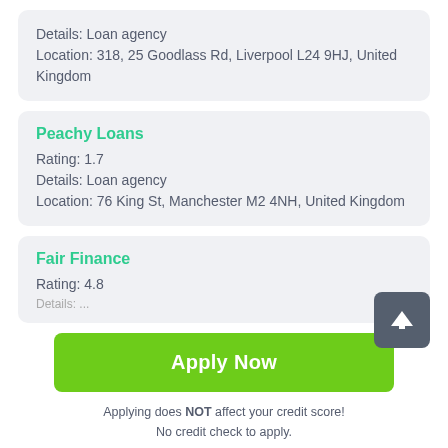Details: Loan agency
Location: 318, 25 Goodlass Rd, Liverpool L24 9HJ, United Kingdom
Peachy Loans
Rating: 1.7
Details: Loan agency
Location: 76 King St, Manchester M2 4NH, United Kingdom
Fair Finance
Rating: 4.8
Apply Now
Applying does NOT affect your credit score!
No credit check to apply.